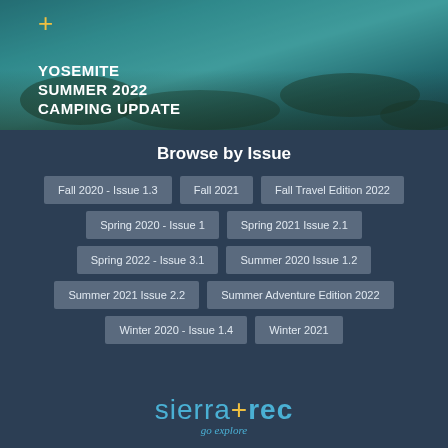[Figure (photo): Aerial/underwater view of coral reef with teal blue water, overlaid with text YOSEMITE SUMMER 2022 CAMPING UPDATE and a yellow plus icon]
Browse by Issue
Fall 2020 - Issue 1.3
Fall 2021
Fall Travel Edition 2022
Spring 2020 - Issue 1
Spring 2021 Issue 2.1
Spring 2022 - Issue 3.1
Summer 2020 Issue 1.2
Summer 2021 Issue 2.2
Summer Adventure Edition 2022
Winter 2020 - Issue 1.4
Winter 2021
[Figure (logo): sierra+rec go explore logo in blue and yellow]